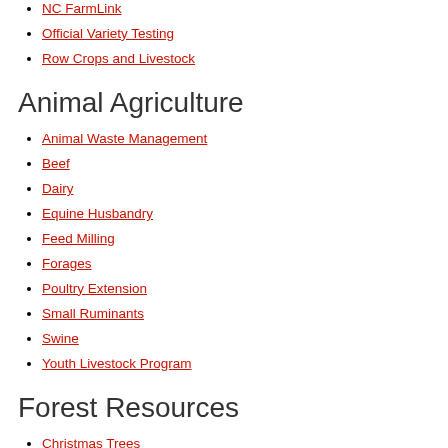NC Farm School
NC FarmLink
Official Variety Testing
Row Crops and Livestock
Animal Agriculture
Animal Waste Management
Beef
Dairy
Equine Husbandry
Feed Milling
Forages
Poultry Extension
Small Ruminants
Swine
Youth Livestock Program
Forest Resources
Christmas Trees